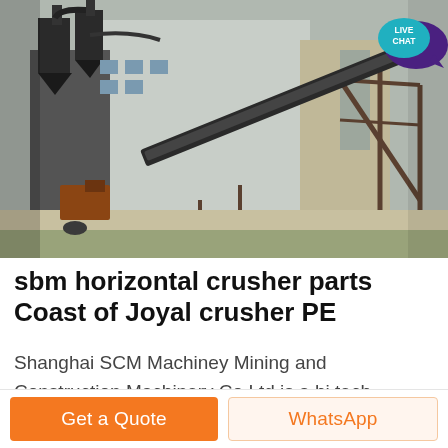[Figure (photo): Industrial/mining facility exterior showing conveyor belts, dust collectors, metal structures and buildings at an SBM/SCM machinery site]
sbm horizontal crusher parts Coast of Joyal crusher PE
Shanghai SCM Machiney Mining and Construction Machinery Co Ltd is a hi tech engineering group We are specialized in the research development and